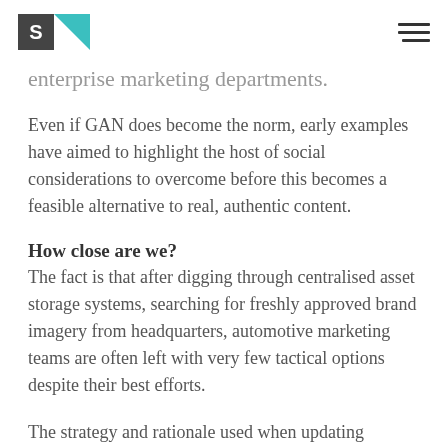S [logo] [hamburger menu]
enterprise marketing departments.
Even if GAN does become the norm, early examples have aimed to highlight the host of social considerations to overcome before this becomes a feasible alternative to real, authentic content.
How close are we?
The fact is that after digging through centralised asset storage systems, searching for freshly approved brand imagery from headquarters, automotive marketing teams are often left with very few tactical options despite their best efforts.
The strategy and rationale used when updating website imagery is one understandably closer to 'let's use image A on the model page, so that we still have